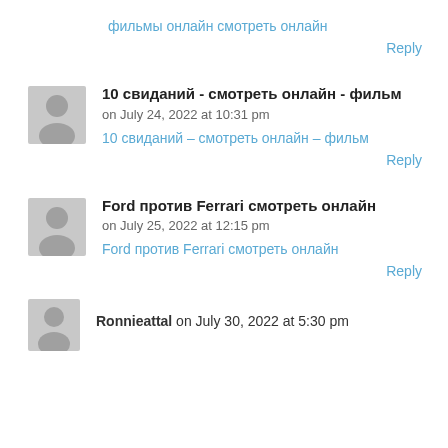фильмы онлайн смотреть онлайн
Reply
10 свиданий - смотреть онлайн - фильм
on July 24, 2022 at 10:31 pm
10 свиданий – смотреть онлайн – фильм
Reply
Ford против Ferrari смотреть онлайн
on July 25, 2022 at 12:15 pm
Ford против Ferrari смотреть онлайн
Reply
Ronnieattal on July 30, 2022 at 5:30 pm